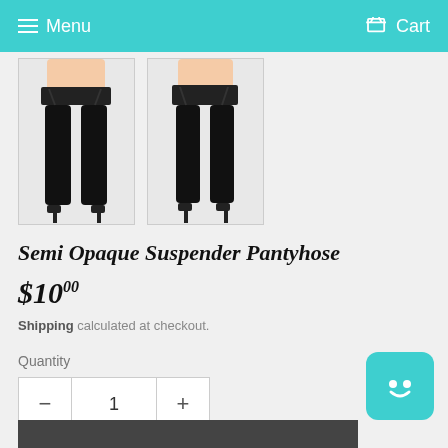Menu  Cart
[Figure (photo): Two product photos of Semi Opaque Suspender Pantyhose worn by a model, shown from waist down, black stockings with suspender/garter detail against white background]
Semi Opaque Suspender Pantyhose
$10.00
Shipping calculated at checkout.
Quantity
1
ADD TO CART